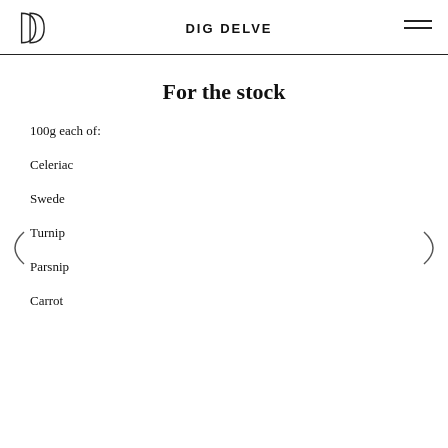DIG DELVE
For the stock
100g each of:
Celeriac
Swede
Turnip
Parsnip
Carrot